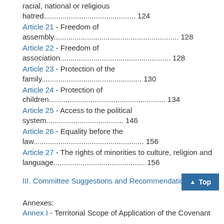racial, national or religious hatred............................124
Article 21 - Freedom of assembly........................................................ 128
Article 22 - Freedom of association........................................................ 128
Article 23 - Protection of the family.................................................. 130
Article 24 - Protection of children......................................................... 134
Article 25 - Access to the political system..................................146
Article 26 - Equality before the law..................................................... 156
Article 27 - The rights of minorities to culture, religion and language.................................................. 156
III. Committee Suggestions and Recommendations
Annexes:
Annex I - Territorial Scope of Application of the Covenant